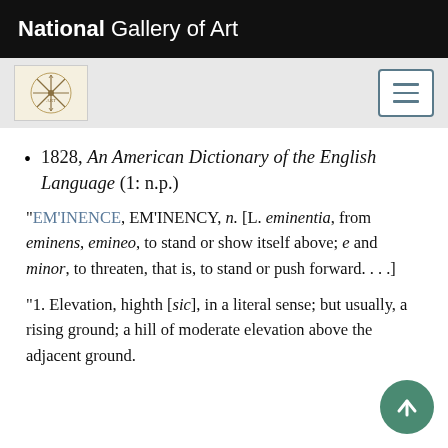National Gallery of Art
[Figure (logo): Navigation bar with a small decorative logo icon on the left and a hamburger menu button on the right, on a light gray background]
1828, An American Dictionary of the English Language (1: n.p.)
"EM'INENCE, EM'INENCY, n. [L. eminentia, from eminens, emineo, to stand or show itself above; e and minor, to threaten, that is, to stand or push forward. . . .]
"1. Elevation, highth [sic], in a literal sense; but usually, a rising ground; a hill of moderate el[evation] above the adjacent ground.